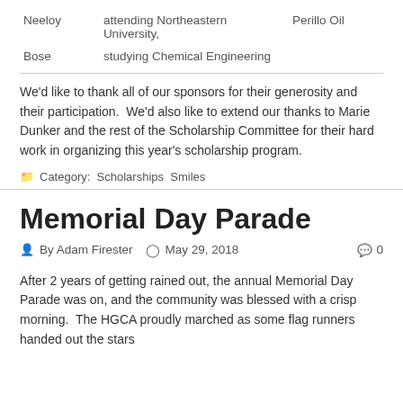| Neeloy | attending Northeastern University, | Perillo Oil |
| Bose | studying Chemical Engineering |  |
We'd like to thank all of our sponsors for their generosity and their participation.  We'd also like to extend our thanks to Marie Dunker and the rest of the Scholarship Committee for their hard work in organizing this year's scholarship program.
Category: Scholarships  Smiles
Memorial Day Parade
By Adam Firester  May 29, 2018  0
After 2 years of getting rained out, the annual Memorial Day Parade was on, and the community was blessed with a crisp morning.  The HGCA proudly marched as some flag runners handed out the stars